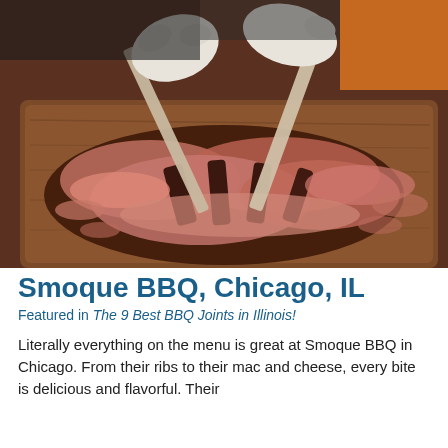[Figure (photo): Close-up photo of BBQ ribs being carved on a wooden cutting board by gloved hands holding metal spatulas/knives. The meat is smoky and charred, showing pulled pork or ribs being served. Background shows a kitchen or BBQ cooking environment.]
Smoque BBQ, Chicago, IL
Featured in The 9 Best BBQ Joints in Illinois!
Literally everything on the menu is great at Smoque BBQ in Chicago. From their ribs to their mac and cheese, every bite is delicious and flavorful. Their